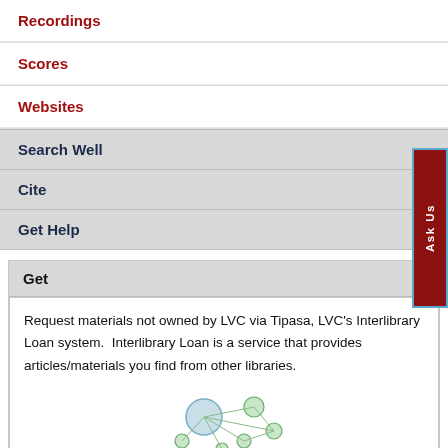Recordings
Scores
Websites
Search Well
Cite
Get Help
Get
Request materials not owned by LVC via Tipasa, LVC's Interlibrary Loan system.  Interlibrary Loan is a service that provides articles/materials you find from other libraries.
[Figure (illustration): Network diagram illustration showing interconnected circles/nodes in light green and blue, representing an interlibrary loan network]